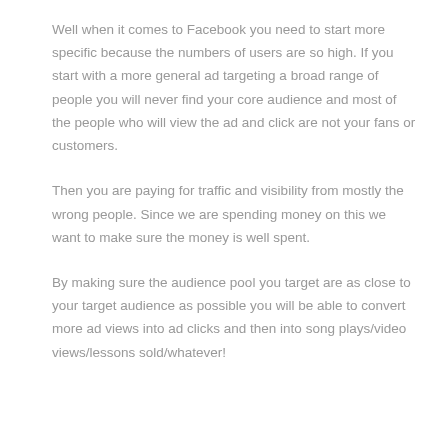Well when it comes to Facebook you need to start more specific because the numbers of users are so high. If you start with a more general ad targeting a broad range of people you will never find your core audience and most of the people who will view the ad and click are not your fans or customers.
Then you are paying for traffic and visibility from mostly the wrong people. Since we are spending money on this we want to make sure the money is well spent.
By making sure the audience pool you target are as close to your target audience as possible you will be able to convert more ad views into ad clicks and then into song plays/video views/lessons sold/whatever!